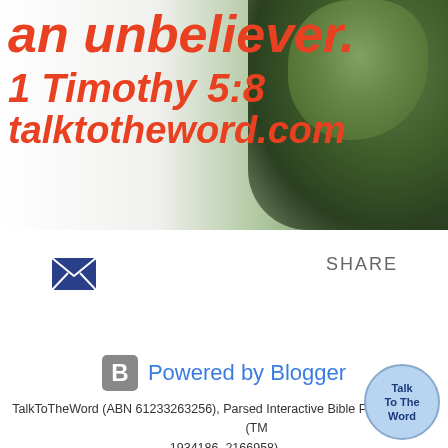[Figure (illustration): Banner with orange italic bold text reading 'an unbeliever.' on first line, '1 Timothy 5:8' on second line, 'talktotheword.com' on third line, with nature/waterfall background on right side]
[Figure (illustration): Email envelope icon (dark blue/navy)]
SHARE
[Figure (logo): Blogger B logo icon in gray square with rounded corners followed by 'Powered by Blogger' in blue text]
TalkToTheWord (ABN 61233263256), Parsed Interactive Bible PIB are Trade (TM 1934186, 2166958)
[Figure (illustration): Circular badge with blue background reading 'Talk To The Word' in dark blue text]